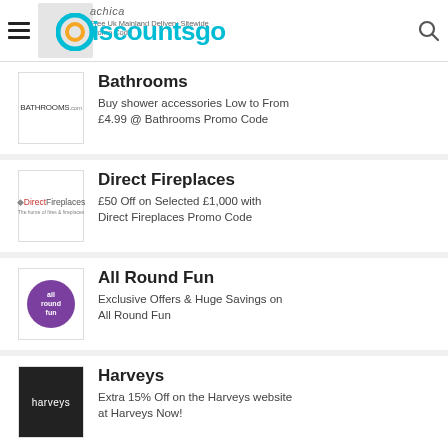discountsgo — achica Free UK Mainland Delivery Sitewide achica Promo Code
Bathrooms — Buy shower accessories Low to From £4.99 @ Bathrooms Promo Code
Direct Fireplaces — £50 Off on Selected £1,000 with Direct Fireplaces Promo Code
All Round Fun — Exclusive Offers & Huge Savings on All Round Fun
Harveys — Extra 15% Off on the Harveys website at Harveys Now!
alamo — Exclusive From £34.32 Get Miami car hire with alamo Discount Now!